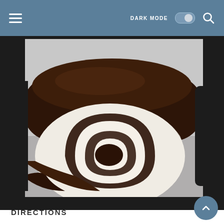≡   DARK MODE [toggle]   🔍
[Figure (photo): Close-up photo of a chocolate Swiss roll cake with white cream filling, showing the spiral cross-section, covered in dark chocolate ganache, on a light surface.]
DIRECTIONS